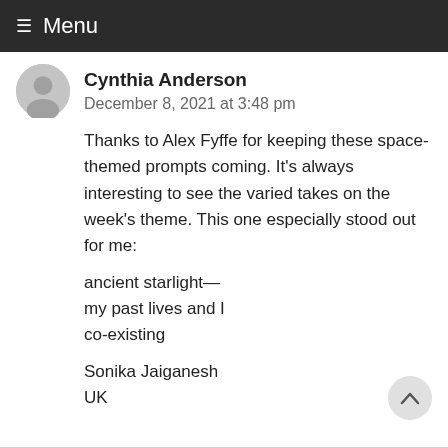≡ Menu
Cynthia Anderson
December 8, 2021 at 3:48 pm
Thanks to Alex Fyffe for keeping these space-themed prompts coming. It's always interesting to see the varied takes on the week's theme. This one especially stood out for me:
ancient starlight—
my past lives and I
co-existing

Sonika Jaiganesh
UK